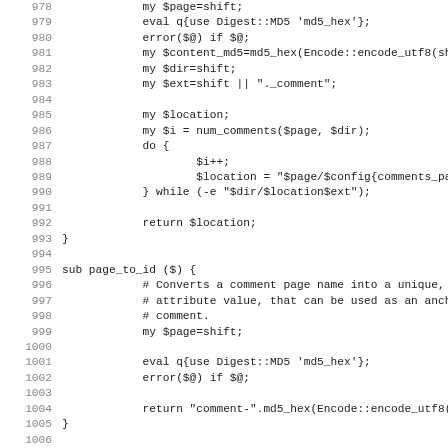[Figure (screenshot): Source code listing in Perl, lines 978-1010, showing functions for comment location and page_to_id, and package IkiWiki::PageSpec declaration, displayed in monospace font with line numbers on the left.]